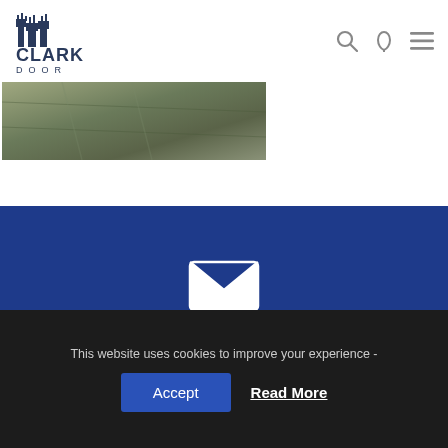[Figure (logo): Clark Door logo with building silhouette icon and text CLARK DOOR]
[Figure (photo): Partial aerial or outdoor image strip at top-left, earthy tones]
[Figure (infographic): Blue banner with white envelope icon and text REQUEST A FREE ENERGY SURVEY]
[Figure (infographic): Blue banner with white eye icon and text VIEW OUR CASE STUDIES]
This website uses cookies to improve your experience -
Accept
Read More